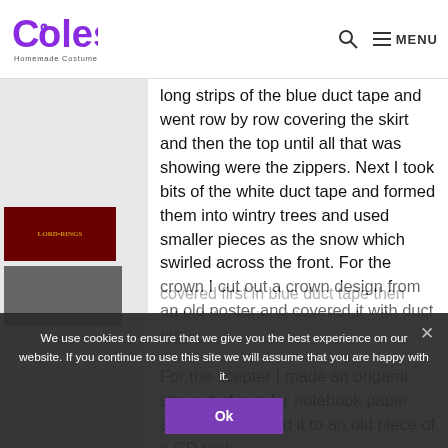Coolest Homemade Costumes — MENU
long strips of the blue duct tape and went row by row covering the skirt and then the top until all that was showing were the zippers. Next I took bits of the white duct tape and formed them into wintry trees and used smaller pieces as the snow which swirled across the front. For the crown I cut out a crown design from an old poster and covered it with duct tape.
For the scepter I made an origami star out of regular notebook paper and then attached it to an old piece of a CD rack with hot glue and covered first in blue duct tape then added the white stripes to give them a 'root' look.
We use cookies to ensure that we give you the best experience on our website. If you continue to use this site we will assume that you are happy with it.